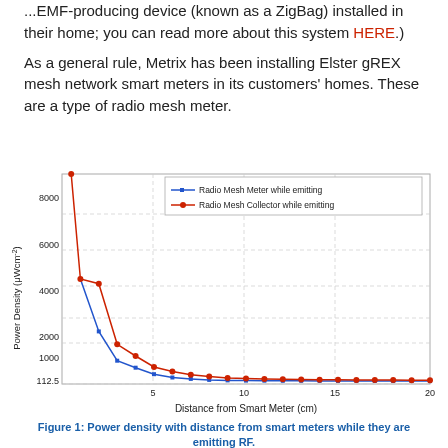...EMF-producing device (known as a ZigBag) installed in their home; you can read more about this system HERE.)

As a general rule, Metrix has been installing Elster gREX mesh network smart meters in its customers' homes. These are a type of radio mesh meter.
[Figure (continuous-plot): Line chart showing power density vs distance from smart meter (0-20 cm). Two curves: blue (Radio Mesh Meter while emitting) starts near 4500 at ~1 cm and drops sharply to ~112.5 by 5-6 cm, then flat. Red (Radio Mesh Collector while emitting) starts above 9000 at ~1 cm, drops steeply to ~4500 at 2 cm, continues to ~112.5 asymptote. Both curves approach 112.5 μWcm⁻² baseline.]
Figure 1:  Power density with distance from smart meters while they are emitting RF.